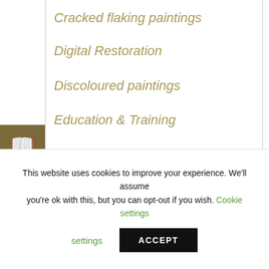Cracked flaking paintings
Digital Restoration
Discoloured paintings
Education & Training
Frames
Gilding
Guides and advice
History Of Art
This website uses cookies to improve your experience. We'll assume you're ok with this, but you can opt-out if you wish. Cookie settings ACCEPT